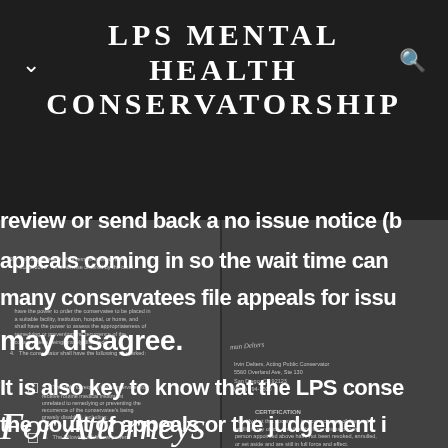LPS MENTAL HEALTH CONSERVATORSHIP
review or send back a no issue notice (b
appeals coming in so the wait time can
many conservatees file appeals for issu
may disagree.
It is also key to know that the LPS conse
the court of appeals or the judgement i
For Attorneys